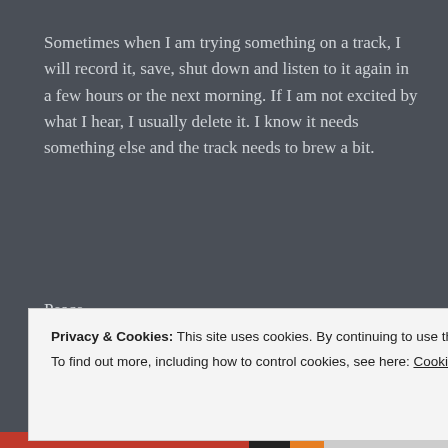Sometimes when I am trying something on a track, I will record it, save, shut down and listen to it again in a few hours or the next morning. If I am not excited by what I hear, I usually delete it. I know it needs something else and the track needs to brew a bit.
Peace.
★ Like
REPLY
ALEX
Privacy & Cookies: This site uses cookies. By continuing to use this website, you agree to their use.
To find out more, including how to control cookies, see here: Cookie Policy
Close and accept